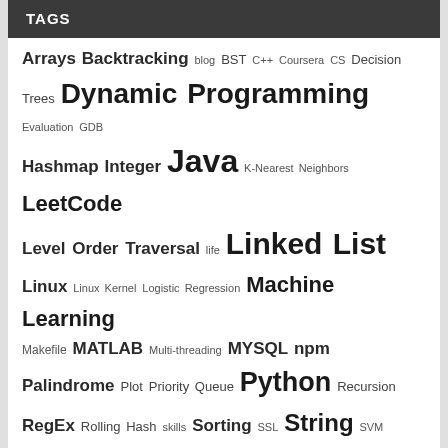TAGS
Arrays Backtracking blog BST C++ Coursera CS Decision Trees Dynamic Programming Evaluation GDB Hashmap Integer Java K-Nearest Neighbors LeetCode Level Order Traversal life Linked List Linux Linux Kernel Logistic Regression Machine Learning Makefile MATLAB Multi-threading MYSQL npm Palindrome Plot Priority Queue Python Recursion RegEx Rolling Hash skills Sorting SSL String SVM Tree Ubuntu Vue WordPress WSS
THANKS TO_